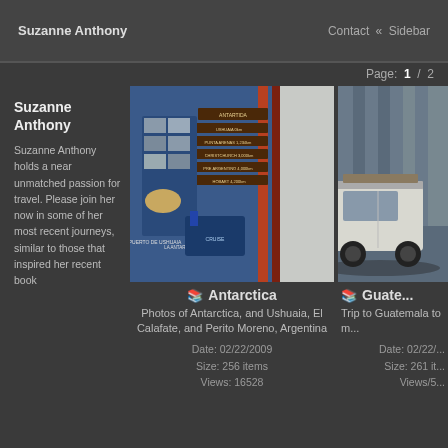Suzanne Anthony | Contact « Sidebar
Page: 1  2
Suzanne Anthony
Suzanne Anthony holds a near unmatched passion for travel. Please join her now in some of her most recent journeys, similar to those that inspired her recent book
[Figure (photo): Photo of Antarctica directional sign post and welcome mural in Ushuaia]
Antarctica
Photos of Antarctica, and Ushuaia, El Calafate, and Perito Moreno, Argentina
Date: 02/22/2009
Size: 256 items
Views: 16528
[Figure (photo): Photo of a white vehicle/jeep parked indoors in Guatemala]
Guate...
Trip to Guatemala to m...
Date: 02/22/...
Size: 261 it...
Views/5...